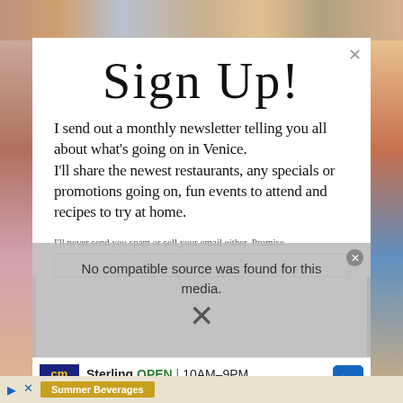[Figure (photo): Background collage of photo thumbnails of people, partially visible on left, right, and top edges behind modal]
Sign Up!
I send out a monthly newsletter telling you all about what's going on in Venice.
I'll share the newest restaurants, any specials or promotions going on, fun events to attend and recipes to try at home.
I'll never send you spam or sell your email either. Promise.
[Figure (screenshot): Ad overlay showing 'No compatible source was found for this media.' with X close icon. Below: Sterling store ad with CM logo, OPEN 10AM-9PM, 45210 Towlern Place, Sterling, navigation arrow icon. Bottom strip with play icon, Summer Beverages banner.]